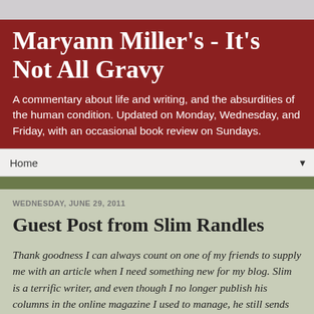Maryann Miller's - It's Not All Gravy
A commentary about life and writing, and the absurdities of the human condition. Updated on Monday, Wednesday, and Friday, with an occasional book review on Sundays.
Home
WEDNESDAY, JUNE 29, 2011
Guest Post from Slim Randles
Thank goodness I can always count on one of my friends to supply me with an article when I need something new for my blog. Slim is a terrific writer, and even though I no longer publish his columns in the online magazine I used to manage, he still sends them for me to enjoy and share.